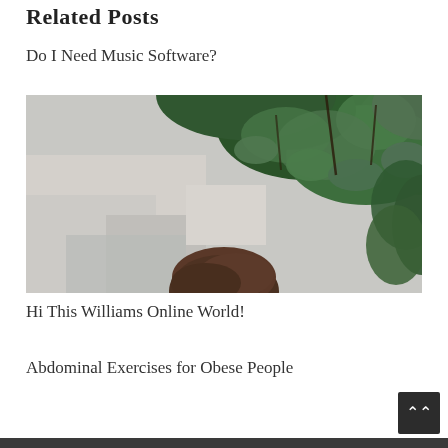Related Posts
Do I Need Music Software?
[Figure (photo): Overhead photo of a person looking up through dense green ivy leaves against a white stone wall background]
Hi This Williams Online World!
Abdominal Exercises for Obese People